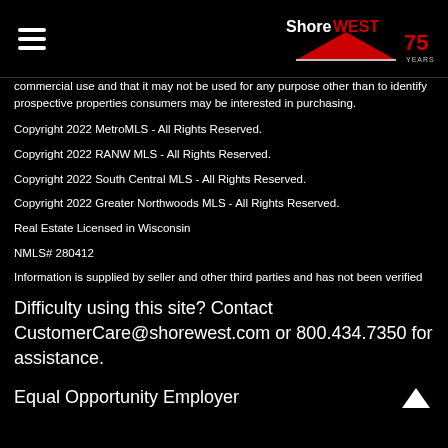ShoreWEST 75 YEARS
commercial use and that it may not be used for any purpose other than to identify prospective properties consumers may be interested in purchasing.
Copyright 2022 MetroMLS - All Rights Reserved.
Copyright 2022 RANW MLS - All Rights Reserved.
Copyright 2022 South Central MLS - All Rights Reserved.
Copyright 2022 Greater Northwoods MLS - All Rights Reserved.
Real Estate Licensed in Wisconsin
NMLS# 280412
Information is supplied by seller and other third parties and has not been verified
Difficulty using this site? Contact CustomerCare@shorewest.com or 800.434.7350 for assistance.
Equal Opportunity Employer